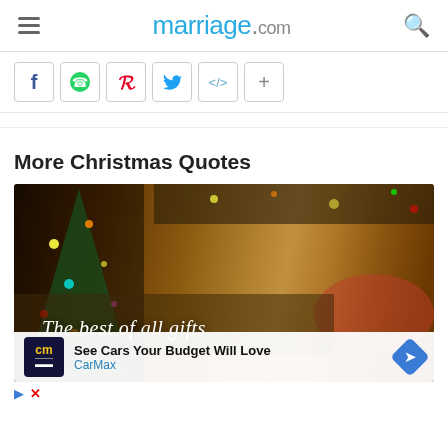marriage.com
[Figure (screenshot): Social sharing buttons row: Facebook (f), WhatsApp (green phone), Pinterest (red P), Twitter (blue bird), embed code (</>), plus (+)]
More Christmas Quotes
[Figure (photo): Christmas scene with decorated tree, bokeh lights, Santa hat, and overlaid text 'The best of all gifts' in italic white font. An advertisement overlay at the bottom reads 'See Cars Your Budget Will Love' by CarMax with a blue arrow icon and CarMax logo.]